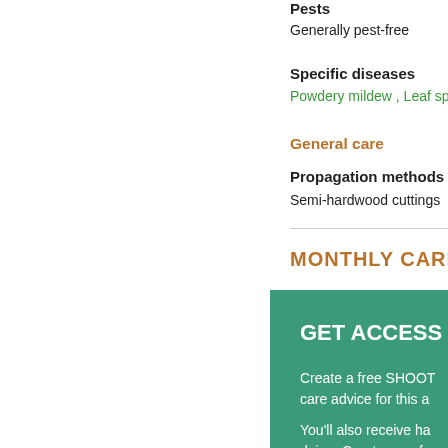Pests
Generally pest-free
Specific diseases
Powdery mildew , Leaf spe…
General care
Propagation methods
Semi-hardwood cuttings
MONTHLY CARE A…
GET ACCESS TO…
Create a free SHOOT… care advice for this a…
You'll also receive ha… doing. Create your fre…
CR…